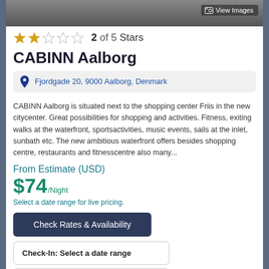[Figure (screenshot): Top portion of hotel/building image with dark background]
2 of 5 Stars
CABINN Aalborg
Fjordgade 20, 9000 Aalborg, Denmark
CABINN Aalborg is situated next to the shopping center Friis in the new citycenter. Great possibilities for shopping and activities. Fitness, exiting walks at the waterfront, sportsactivities, music events, sails at the inlet, sunbath etc. The new ambitious waterfront offers besides shopping centre, restaurants and fitnesscentre also many...
From Estimate (USD)
$74/Night
Select a date range for live pricing.
Check Rates & Availability
Check-In: Select a date range
Check-Out:Select a date ra...
Upvote
Downvote